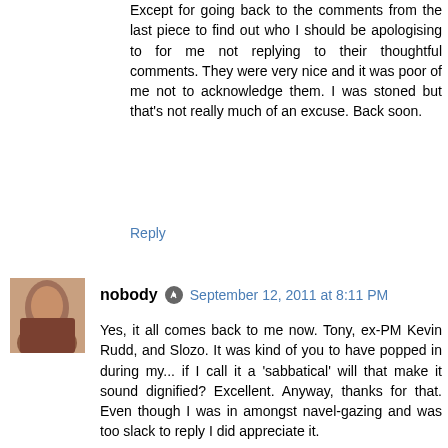Except for going back to the comments from the last piece to find out who I should be apologising to for me not replying to their thoughtful comments. They were very nice and it was poor of me not to acknowledge them. I was stoned but that's not really much of an excuse. Back soon.
Reply
nobody  September 12, 2011 at 8:11 PM
Yes, it all comes back to me now. Tony, ex-PM Kevin Rudd, and Slozo. It was kind of you to have popped in during my... if I call it a 'sabbatical' will that make it sound dignified? Excellent. Anyway, thanks for that. Even though I was in amongst navel-gazing and was too slack to reply I did appreciate it.
I actually had a couple of other very interesting visits while I was off sabbaticking, or whatever it is one does on a sabbatical. One was comedic - does anyone here remember stevieb? Actually I should say, 'accused paedophile stevieb' and sure it was me what accused him but it's not like he gave me a choice in the matter. Anyway,